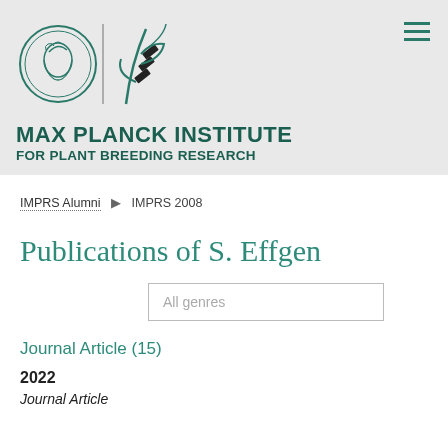[Figure (logo): Max Planck Institute for Plant Breeding Research logo with Minerva head medallion and stylized plant/wheat icon]
MAX PLANCK INSTITUTE FOR PLANT BREEDING RESEARCH
IMPRS Alumni  ▶  IMPRS 2008
Publications of S. Effgen
All genres
Journal Article (15)
2022
Journal Article